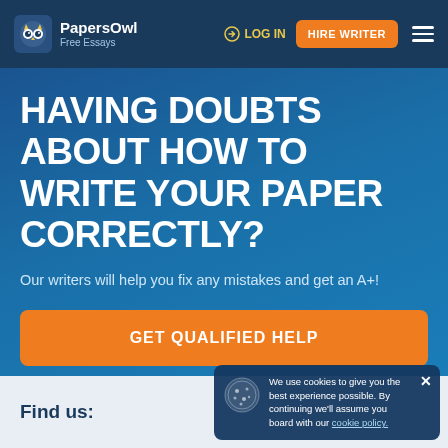PapersOwl Free Essays | LOG IN | HIRE WRITER
HAVING DOUBTS ABOUT HOW TO WRITE YOUR PAPER CORRECTLY?
Our writers will help you fix any mistakes and get an A+!
GET QUALIFIED HELP
Find us:
We use cookies to give you the best experience possible. By continuing we'll assume you board with our cookie policy.